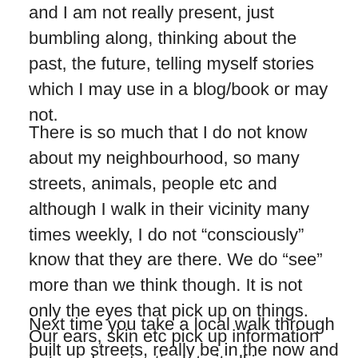and I am not really present, just bumbling along, thinking about the past, the future, telling myself stories which I may use in a blog/book or may not.
There is so much that I do not know about my neighbourhood, so many streets, animals, people etc and although I walk in their vicinity many times weekly, I do not “consciously” know that they are there. We do “see” more than we think though. It is not only the eyes that pick up on things. Our ears, skin etc pick up information but we do not articulate it all in our conscious minds or we would probably blow a fuse. There would be so much interference. So many sensations and sights pulling us here and there that nothing would be accomplished.
Next time you take a local walk through built up streets, really be in the now and take a look. I bet you will see a lot of “now” facets and things that have always been there.